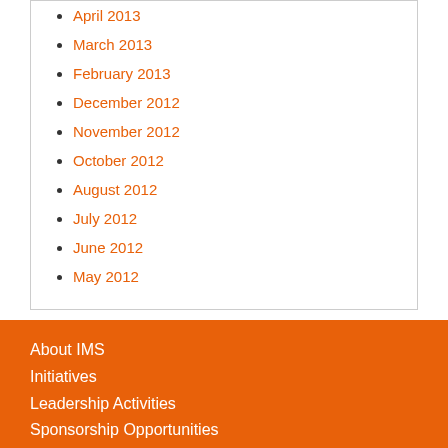April 2013
March 2013
February 2013
December 2012
November 2012
October 2012
August 2012
July 2012
June 2012
May 2012
About IMS
Initiatives
Leadership Activities
Sponsorship Opportunities
Collaborations and Affiliations
News